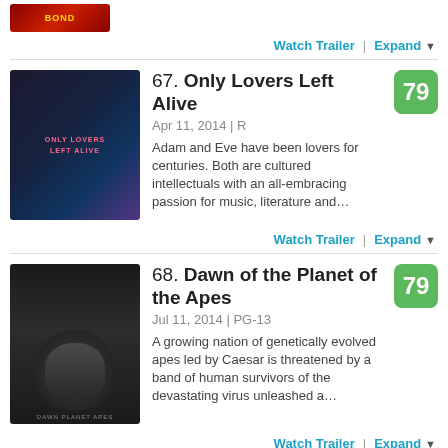[Figure (photo): Partial movie poster (top cropped) for Bond or similar action film]
Watch Trailer  |  Expand
67. Only Lovers Left Alive
Apr 11, 2014 | R
Adam and Eve have been lovers for centuries. Both are cultured intellectuals with an all-embracing passion for music, literature and…
[Figure (photo): Movie poster for Only Lovers Left Alive showing dark romantic figures]
Watch Trailer  |  Expand
68. Dawn of the Planet of the Apes
Jul 11, 2014 | PG-13
A growing nation of genetically evolved apes led by Caesar is threatened by a band of human survivors of the devastating virus unleashed a…
[Figure (photo): Movie poster for Dawn of the Planet of the Apes showing close-up of ape face]
Watch Trailer  |  Expand
69. For Those in Peril
Oct 3, 2014 | Not Rated
Aaron (George MacKay), a young misfit in a…
[Figure (photo): Movie poster for For Those in Peril showing coastal scene]